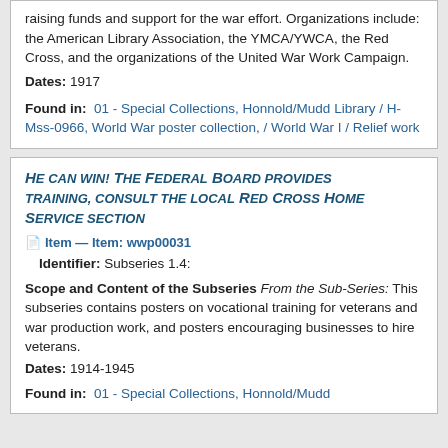raising funds and support for the war effort. Organizations include: the American Library Association, the YMCA/YWCA, the Red Cross, and the organizations of the United War Work Campaign.
Dates: 1917
Found in: 01 - Special Collections, Honnold/Mudd Library / H-Mss-0966, World War poster collection, / World War I / Relief work
He can win! The Federal Board provides training, consult the local Red Cross Home Service section
Item — Item: wwp00031
Identifier: Subseries 1.4:
Scope and Content of the Subseries From the Sub-Series: This subseries contains posters on vocational training for veterans and war production work, and posters encouraging businesses to hire veterans.
Dates: 1914-1945
Found in: 01 - Special Collections, Honnold/Mudd